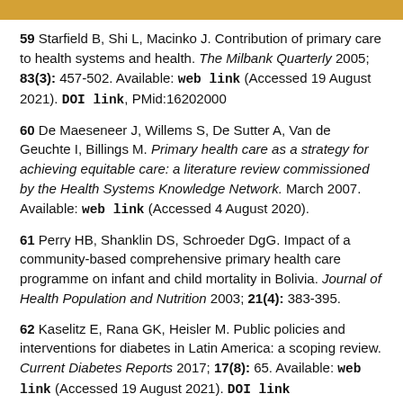59 Starfield B, Shi L, Macinko J. Contribution of primary care to health systems and health. The Milbank Quarterly 2005; 83(3): 457-502. Available: web link (Accessed 19 August 2021). DOI link, PMid:16202000
60 De Maeseneer J, Willems S, De Sutter A, Van de Geuchte I, Billings M. Primary health care as a strategy for achieving equitable care: a literature review commissioned by the Health Systems Knowledge Network. March 2007. Available: web link (Accessed 4 August 2020).
61 Perry HB, Shanklin DS, Schroeder DgG. Impact of a community-based comprehensive primary health care programme on infant and child mortality in Bolivia. Journal of Health Population and Nutrition 2003; 21(4): 383-395.
62 Kaselitz E, Rana GK, Heisler M. Public policies and interventions for diabetes in Latin America: a scoping review. Current Diabetes Reports 2017; 17(8): 65. Available: web link (Accessed 19 August 2021). DOI link